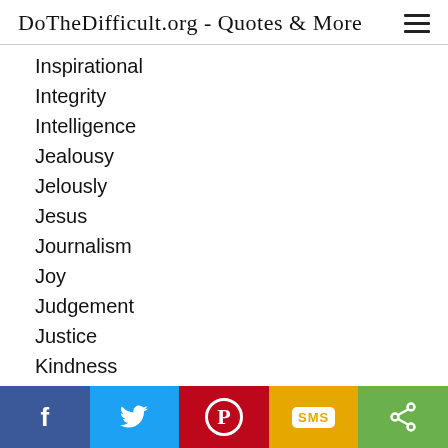DoTheDifficult.org - Quotes & More
Inspirational
Integrity
Intelligence
Jealousy
Jelously
Jesus
Journalism
Joy
Judgement
Justice
Kindness
Kisses
Knowledge
Laughter
Law